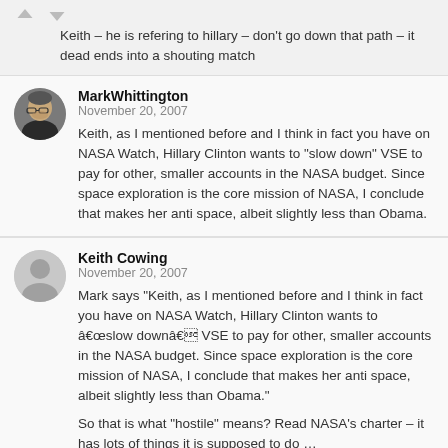Keith – he is refering to hillary – don't go down that path – it dead ends into a shouting match
MarkWhittington
November 20, 2007

Keith, as I mentioned before and I think in fact you have on NASA Watch, Hillary Clinton wants to "slow down" VSE to pay for other, smaller accounts in the NASA budget. Since space exploration is the core mission of NASA, I conclude that makes her anti space, albeit slightly less than Obama.
Keith Cowing
November 20, 2007

Mark says "Keith, as I mentioned before and I think in fact you have on NASA Watch, Hillary Clinton wants to â€œslow downâ€ VSE to pay for other, smaller accounts in the NASA budget. Since space exploration is the core mission of NASA, I conclude that makes her anti space, albeit slightly less than Obama."

So that is what "hostile" means? Read NASA's charter – it has lots of things it is supposed to do …